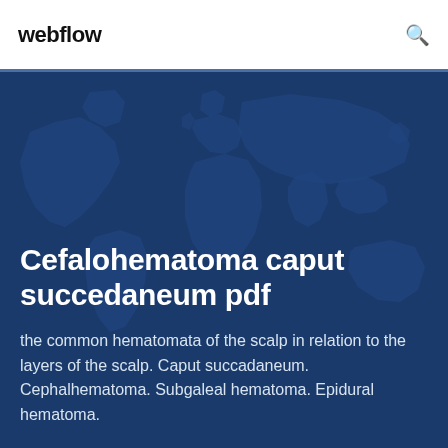webflow
Cefalohematoma caput succedaneum pdf
the common hematomata of the scalp in relation to the layers of the scalp. Caput succadaneum. Cephalhematoma. Subgaleal hematoma. Epidural hematoma.
[Figure (illustration): World map silhouette in dark blue tones used as background hero image]